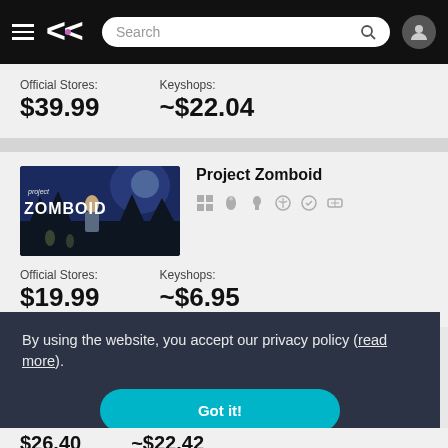GG navigation bar with hamburger menu, logo, search bar, user icon
Official Stores:
$39.99
Keyshops:
~$22.04
[Figure (screenshot): Project Zomboid game thumbnail — dark blue zombie apocalypse scene with character and logo]
Project Zomboid
[Figure (infographic): Platform icons: Windows, macOS, Penguin (Linux), audio/DRM icons]
Official Stores:
$19.99
Keyshops:
~$6.95
By using the website, you accept our privacy policy (read more).
Got it!
$26.40   ~$22.42